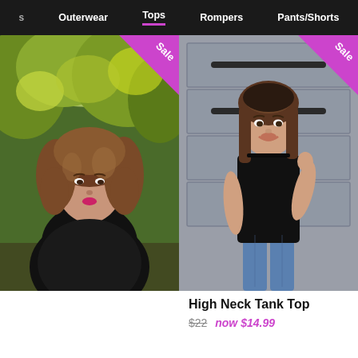Outerwear  Tops  Rompers  Pants/Shorts
[Figure (photo): Woman with curly brown hair wearing a black fluffy/textured jacket, standing outdoors in front of trees with green and yellow foliage. A purple 'Sale' ribbon badge is in the top right corner of the image.]
[Figure (photo): Woman with straight brown hair wearing a black high-neck sleeveless tank top and blue jeans, standing in front of a gray garage door. A purple 'Sale' ribbon badge is in the top right corner of the image.]
High Neck Tank Top
$22  now $14.99